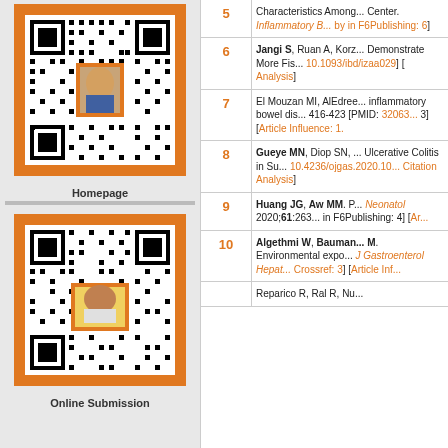[Figure (other): QR code for Homepage with orange frame and person photo overlay]
Homepage
[Figure (other): QR code for Online Submission with orange frame and person photo overlay]
Online Submission
| # | Reference |
| --- | --- |
| 5 | Characteristics Among... Center. Inflammatory B... by in F6Publishing: 6] |
| 6 | Jangi S, Ruan A, Korz... Demonstrate More Fis... 10.1093/ibd/izaa029] [...Analysis] |
| 7 | El Mouzan MI, AlEdree... inflammatory bowel dis... 416-423 [PMID: 32063... 3] [Article Influence: 1. |
| 8 | Gueye MN, Diop SN, ... Ulcerative Colitis in Su... 10.4236/ojgas.2020.10... Citation Analysis] |
| 9 | Huang JG, Aw MM. P... Neonatol 2020;61:263... in F6Publishing: 4] [Ar... |
| 10 | Algethmi W, Bauman... M. Environmental expo... J Gastroenterol Hepat... Crossref: 3] [Article Inf... |
| 11 | Reparico R, Ral R, Nu... |